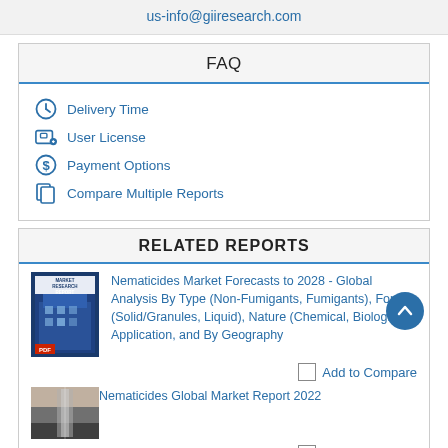us-info@giiresearch.com
FAQ
Delivery Time
User License
Payment Options
Compare Multiple Reports
RELATED REPORTS
Nematicides Market Forecasts to 2028 - Global Analysis By Type (Non-Fumigants, Fumigants), Form (Solid/Granules, Liquid), Nature (Chemical, Biological), Application, and By Geography
Add to Compare
Nematicides Global Market Report 2022
Add to Compare